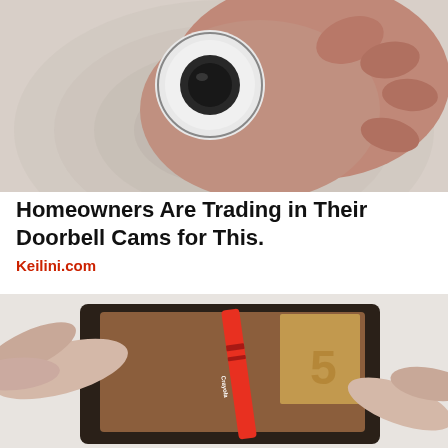[Figure (photo): A hand holding a small round doorbell camera device against a woven white surface, viewed from above.]
Homeowners Are Trading in Their Doorbell Cams for This.
Keilini.com
[Figure (photo): Two hands opening a dark leather wallet containing a red Crayola crayon and euro banknotes, on a white surface.]